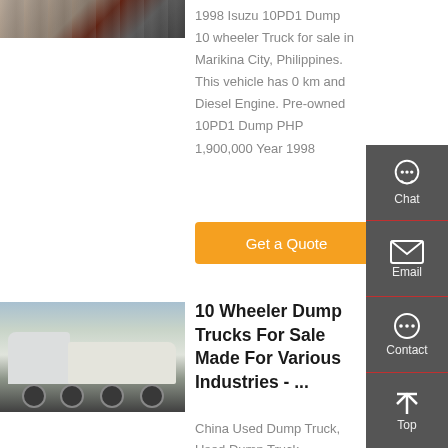[Figure (photo): Partial photo of a dump truck, top portion of vehicle visible]
1998 Isuzu 10PD1 Dump 10 wheeler Truck for sale in Marikina City, Philippines. This vehicle has 0 km and Diesel Engine. Pre-owned 10PD1 Dump PHP 1,900,000 Year 1998
Get a Quote
[Figure (photo): White semi-truck / tractor unit (10 wheeler) photographed outdoors with trees in background]
10 Wheeler Dump Trucks For Sale Made For Various Industries - ...
China Used Dump Truck, Used Dump Truck Manufacturers